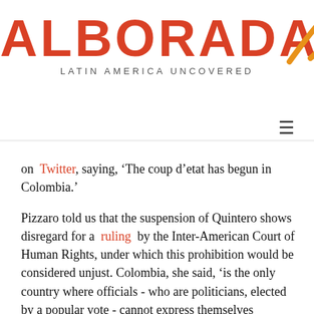[Figure (logo): Alborada logo with orange arc/moon graphic and red bold text 'ALBORADA', tagline 'LATIN AMERICA UNCOVERED']
on Twitter, saying, 'The coup d'etat has begun in Colombia.'
Pizzaro told us that the suspension of Quintero shows disregard for a ruling by the Inter-American Court of Human Rights, under which this prohibition would be considered unjust. Colombia, she said, 'is the only country where officials - who are politicians, elected by a popular vote - cannot express themselves politically.' Reflecting on the suspension of Quintero, Pizzaro said that the